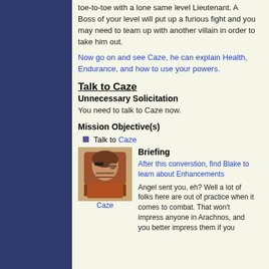toe-to-toe with a lone same level Lieutenant. A Boss of your level will put up a furious fight and you may need to team up with another villain in order to take him out.
Now go on and see Caze, he can explain Health, Endurance, and how to use your powers.
Talk to Caze
Unnecessary Solicitation
You need to talk to Caze now.
Mission Objective(s)
Talk to Caze
[Figure (photo): NPC portrait of Caze - a character with an eye patch and brown/orange outfit]
Caze
Briefing
After this converstion, find Blake to learn about Enhancements
Angel sent you, eh? Well a lot of folks here are out of practice when it comes to combat. That won't impress anyone in Arachnos, and you better impress them if you